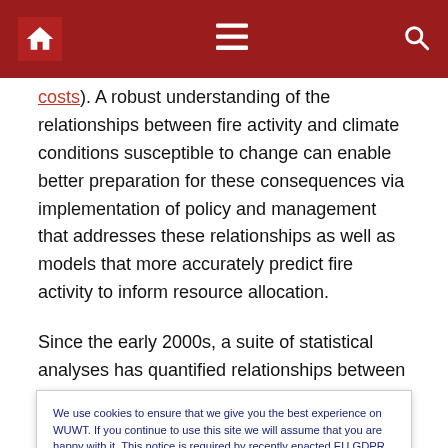Navigation bar with home, menu, and search icons
costs). A robust understanding of the relationships between fire activity and climate conditions susceptible to change can enable better preparation for these consequences via implementation of policy and management that addresses these relationships as well as models that more accurately predict fire activity to inform resource allocation.
Since the early 2000s, a suite of statistical analyses has quantified relationships between summer fire activity and
We use cookies to ensure that we give you the best experience on WUWT. If you continue to use this site we will assume that you are happy with it. This notice is required by recently enacted EU GDPR rules, and since WUWT is a globally read website, we need to keep the bureaucrats off our case! Cookie Policy
across the western U.S. has been mostly explained by